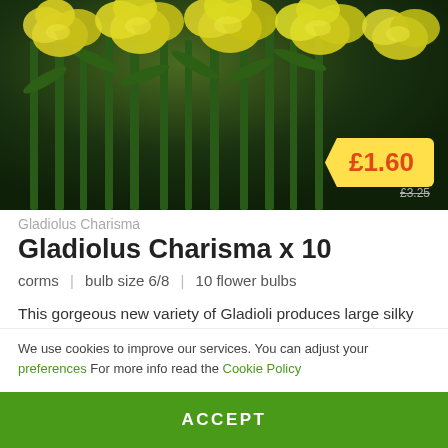[Figure (photo): Yellow Gladiolus Charisma flowers with green stems and leaves against a dark green background, with a yellow price badge showing £1.60 and a struck-through old price of £3.25]
Gladiolus Charisma
Gladiolus Charisma x 10
corms | bulb size 6/8 | 10 flower bulbs
This gorgeous new variety of Gladioli produces large silky flowers clustered closely together on stems up to 3ft tall. Each bloom is a delightful
We use cookies to improve our services. You can adjust your preferences For more info read the Cookie Policy
ACCEPT